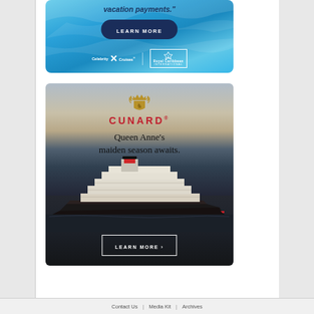[Figure (illustration): Celebrity Cruises and Royal Caribbean International advertisement banner with blue water background, 'vacation payments.' text, dark navy LEARN MORE button, Celebrity X Cruises and Royal Caribbean International logos]
[Figure (illustration): Cunard advertisement featuring crown and lion crest logo, red CUNARD text, 'Queen Anne's maiden season awaits.' tagline, cruise ship Queen Anne on dark ocean water at dusk, white bordered LEARN MORE button]
Contact Us | Media Kit | Archives